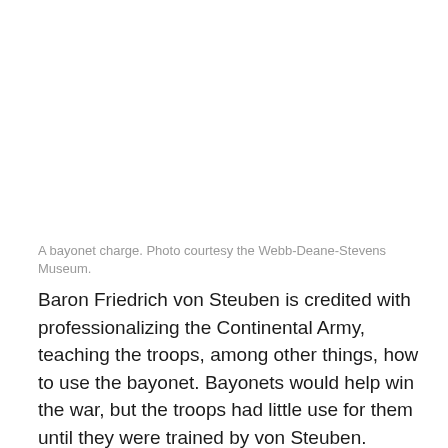A bayonet charge. Photo courtesy the Webb-Deane-Stevens Museum.
Baron Friedrich von Steuben is credited with professionalizing the Continental Army, teaching the troops, among other things, how to use the bayonet. Bayonets would help win the war, but the troops had little use for them until they were trained by von Steuben.
Von Steuben wrote the first manual for the U.S. Army during the American Revolution. Congress approved publication of the manual, nicknamed the Blue Book, in March 1779. For the rest of the war, Continental Army soldiers used that edition, which was in use until the War